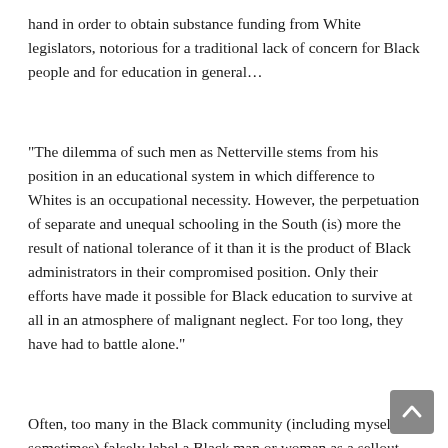hand in order to obtain substance funding from White legislators, notorious for a traditional lack of concern for Black people and for education in general…
“The dilemma of such men as Netterville stems from his position in an educational system in which difference to Whites is an occupational necessity. However, the perpetuation of separate and unequal schooling in the South (is) more the result of national tolerance of it than it is the product of Black administrators in their compromised position. Only their efforts have made it possible for Black education to survive at all in an atmosphere of malignant neglect. For too long, they have had to battle alone.”
Often, too many in the Black community (including myself sometimes) falsely label a Black man or woman as a sellout, Uncle Tom or coon because they do something we do not agree with, not knowing what makes them do